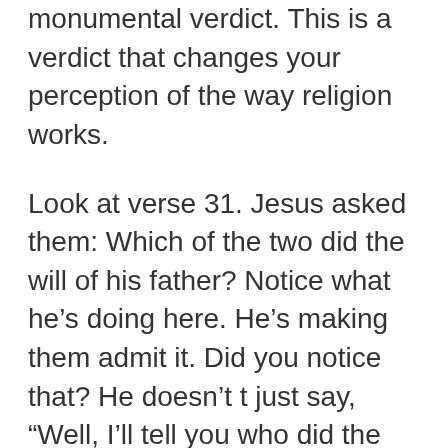monumental verdict. This is a verdict that changes your perception of the way religion works.
Look at verse 31. Jesus asked them: Which of the two did the will of his father? Notice what he's doing here. He's making them admit it. Did you notice that? He doesn't t just say, “Well, I’ll tell you who did the will of his father.” He makes them say it. And they say “the first son.” And notice the verdict. Jesus says “yes, and truly I say to you, the tax collectors and the prostitutes go into the kingdom of God before you do.”